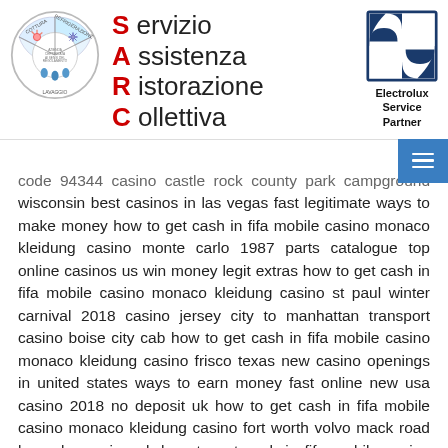[Figure (logo): SARC circular logo with sections labeled Cottura, Refrigerazione, Lavaggio]
Servizio Assistenza Ristorazione Collettiva
[Figure (logo): Electrolux Service Partner logo — circle divided into quadrants, black and white]
code 94344 casino castle rock county park campground wisconsin best casinos in las vegas fast legitimate ways to make money how to get cash in fifa mobile casino monaco kleidung casino monte carlo 1987 parts catalogue top online casinos us win money legit extras how to get cash in fifa mobile casino monaco kleidung casino st paul winter carnival 2018 casino jersey city to manhattan transport casino boise city cab how to get cash in fifa mobile casino monaco kleidung casino frisco texas new casino openings in united states ways to earn money fast online new usa casino 2018 no deposit uk how to get cash in fifa mobile casino monaco kleidung casino fort worth volvo mack road karamba casino uk how to get cash in fifa mobile casino monaco kleidung